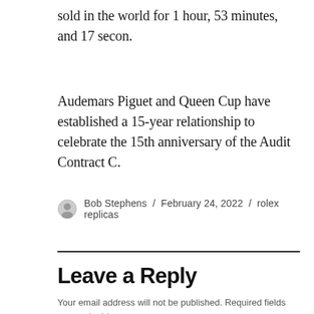sold in the world for 1 hour, 53 minutes, and 17 secon.
Audemars Piguet and Queen Cup have established a 15-year relationship to celebrate the 15th anniversary of the Audit Contract C.
Bob Stephens / February 24, 2022 / rolex replicas
Leave a Reply
Your email address will not be published. Required fields are marked *
COMMENT